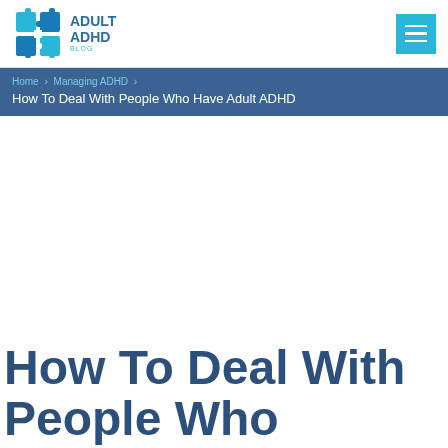Adult ADHD Blog
Home › Managing ADHD › How To Deal With People Who Have Adult ADHD
How To Deal With People Who